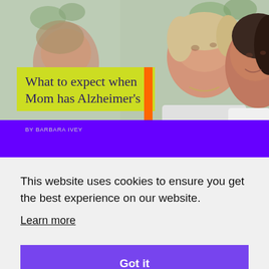[Figure (photo): Two women (one older, one younger) looking upward together, possibly mother and daughter, in a warm-toned background with plants]
What to expect when Mom has Alzheimer's
BY BARBARA IVEY
This website uses cookies to ensure you get the best experience on our website.
Learn more
Got it